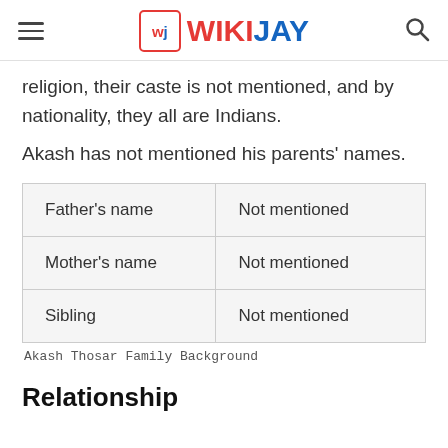WIKIJAY
religion, their caste is not mentioned, and by nationality, they all are Indians.
Akash has not mentioned his parents' names.
| Father’s name | Not mentioned |
| Mother’s name | Not mentioned |
| Sibling | Not mentioned |
Akash Thosar Family Background
Relationship